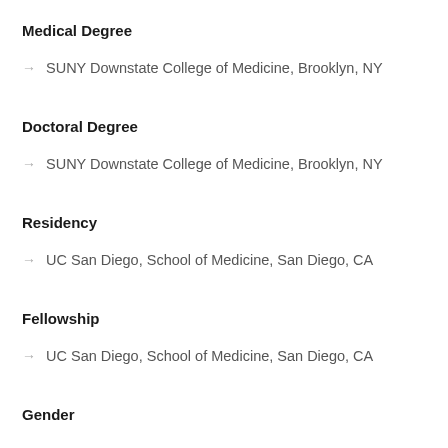Medical Degree
SUNY Downstate College of Medicine, Brooklyn, NY
Doctoral Degree
SUNY Downstate College of Medicine, Brooklyn, NY
Residency
UC San Diego, School of Medicine, San Diego, CA
Fellowship
UC San Diego, School of Medicine, San Diego, CA
Gender